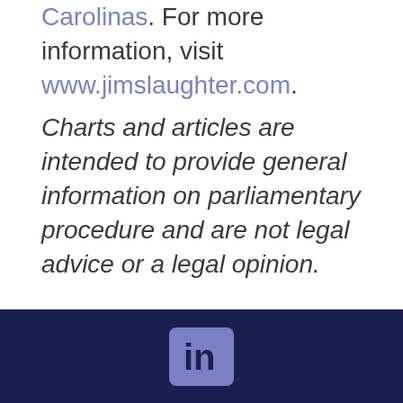Carolinas. For more information, visit www.jimslaughter.com.
Charts and articles are intended to provide general information on parliamentary procedure and are not legal advice or a legal opinion.
[Figure (other): Dark navy footer bar with LinkedIn icon (rounded square with 'in'), a phone handset icon, and a hamburger menu icon (three horizontal lines), all centered.]